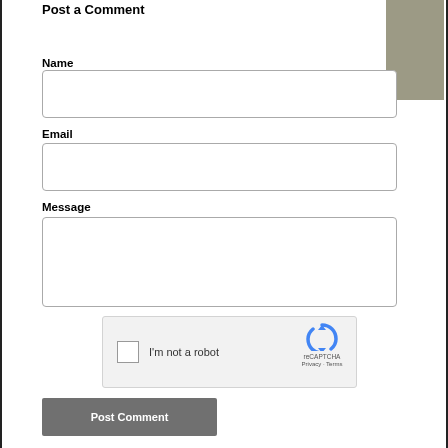Post a Comment
Name
[Figure (other): Gray rectangle decorative element top-right corner]
Email
Message
[Figure (other): reCAPTCHA widget with checkbox, 'I'm not a robot' text, reCAPTCHA logo, Privacy and Terms links]
Post Comment